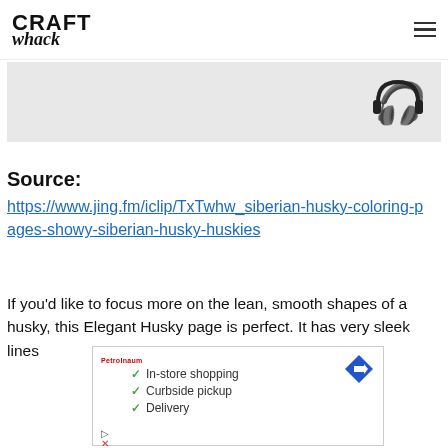CRAFT whack
[Figure (illustration): Partial image strip with light gray background showing headphone icon on the right side]
Source:
https://www.jing.fm/iclip/TxTwhw_siberian-husky-coloring-pages-showy-siberian-husky-huskies
If you'd like to focus more on the lean, smooth shapes of a husky, this Elegant Husky page is perfect. It has very sleek lines
[Figure (screenshot): Advertisement overlay showing checklist: In-store shopping, Curbside pickup, Delivery with store logo and navigation arrow icon]